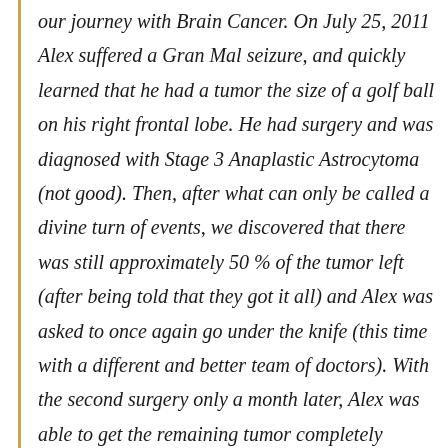our journey with Brain Cancer. On July 25, 2011 Alex suffered a Gran Mal seizure, and quickly learned that he had a tumor the size of a golf ball on his right frontal lobe. He had surgery and was diagnosed with Stage 3 Anaplastic Astrocytoma (not good). Then, after what can only be called a divine turn of events, we discovered that there was still approximately 50 % of the tumor left (after being told that they got it all) and Alex was asked to once again go under the knife (this time with a different and better team of doctors). With the second surgery only a month later, Alex was able to get the remaining tumor completely extracted which was